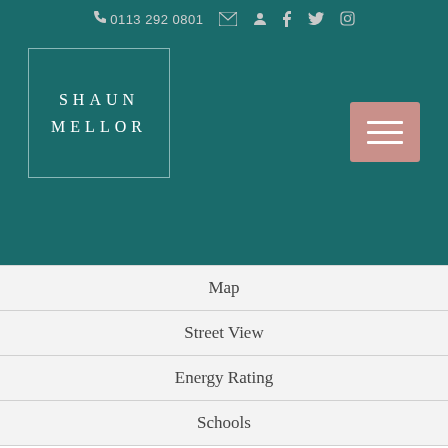0113 292 0801
[Figure (logo): Shaun Mellor estate agent logo in teal box with white serif text]
Map
Street View
Energy Rating
Schools
NO chain
Double glazed windows
Council tax BAND B
Off the street Parking